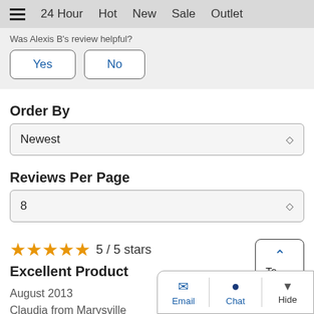24 Hour   Hot   New   Sale   Outlet
Was Alexis B's review helpful?
Yes   No
Order By
Newest
Reviews Per Page
8
5 / 5 stars
Excellent Product
August 2013
Claudia from Marysville
To Top
Email   Chat   Hide